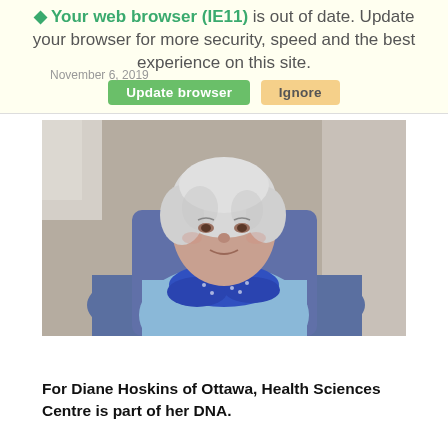Your web browser (IE11) is out of date. Update your browser for more security, speed and the best experience on this site. Update browser | Ignore
November 6, 2019
[Figure (photo): Elderly woman with white hair sitting in a blue armchair, wearing a light blue top and a blue patterned scarf, smiling at the camera]
For Diane Hoskins of Ottawa, Health Sciences Centre is part of her DNA.